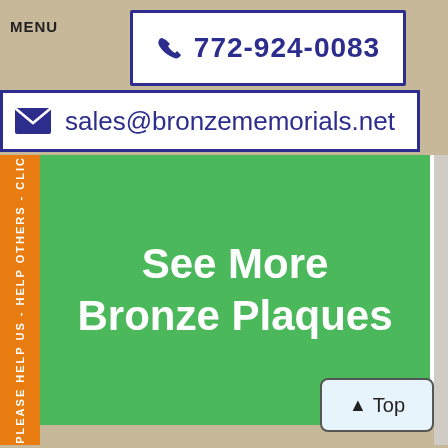MENU
772-924-0083
sales@bronzememorials.net
PLEASE HELP US - HELP OTHERS - CLICK
See More Bronze Plaques
Top